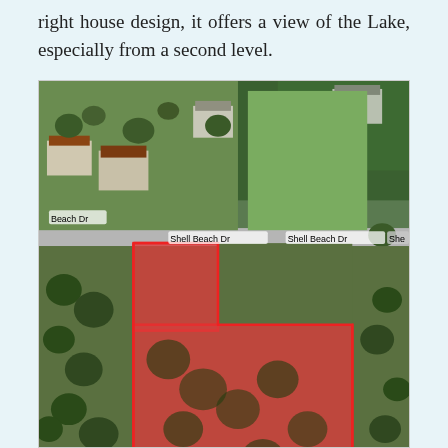right house design, it offers a view of the Lake, especially from a second level.
[Figure (map): Aerial satellite map showing a land parcel outlined in red along Shell Beach Dr. The parcel is an L-shaped or rectangular wooded area highlighted with a red semi-transparent overlay. Surrounding streets labeled include Beach Dr and Shell Beach Dr. Neighboring houses and green fields are visible.]